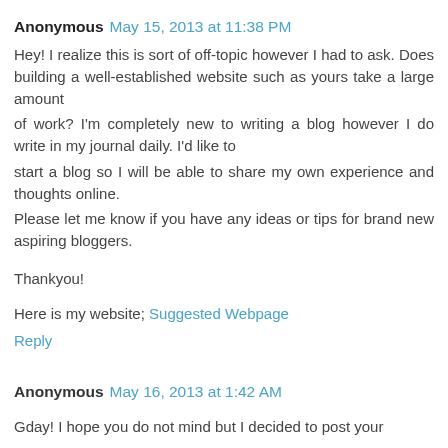Anonymous May 15, 2013 at 11:38 PM
Hey! I realize this is sort of off-topic however I had to ask. Does building a well-established website such as yours take a large amount of work? I'm completely new to writing a blog however I do write in my journal daily. I'd like to start a blog so I will be able to share my own experience and thoughts online.
Please let me know if you have any ideas or tips for brand new aspiring bloggers.

Thankyou!

Here is my website; Suggested Webpage
Reply
Anonymous May 16, 2013 at 1:42 AM
Gday! I hope you do not mind but I decided to post your